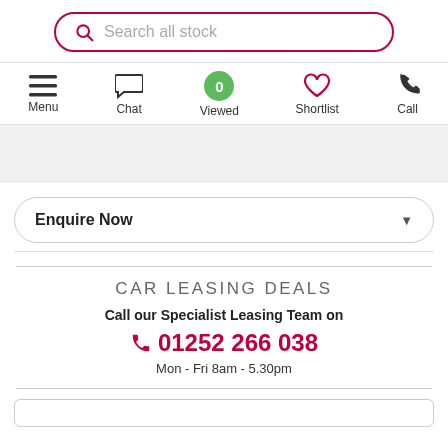Search all stock
[Figure (screenshot): Navigation bar with Menu, Chat, Viewed (0), Shortlist, Call icons]
Enquire Now
CAR LEASING DEALS
Call our Specialist Leasing Team on 01252 266 038 Mon - Fri 8am - 5.30pm